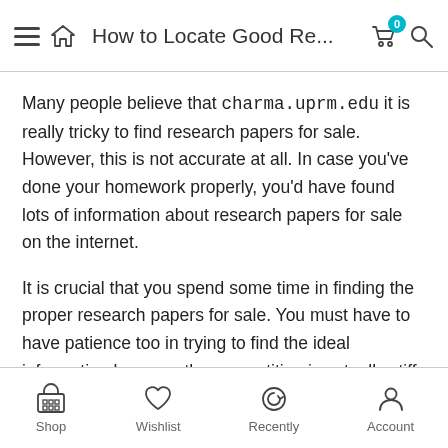How to Locate Good Re...
Many people believe that charma.uprm.edu it is really tricky to find research papers for sale. However, this is not accurate at all. In case you've done your homework properly, you'd have found lots of information about research papers for sale on the internet.
It is crucial that you spend some time in finding the proper research papers for sale. You must have to have patience too in trying to find the ideal information because the competition is actually stiff in this field. If you're lucky enough, you would have the ability to acquire a fantastic deal and the thing you should remember is
Shop  Wishlist  Recently  Account